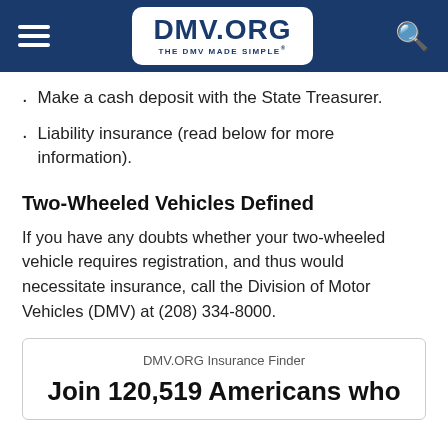DMV.ORG — THE DMV MADE SIMPLE
Make a cash deposit with the State Treasurer.
Liability insurance (read below for more information).
Two-Wheeled Vehicles Defined
If you have any doubts whether your two-wheeled vehicle requires registration, and thus would necessitate insurance, call the Division of Motor Vehicles (DMV) at (208) 334-8000.
DMV.ORG Insurance Finder
Join 120,519 Americans who